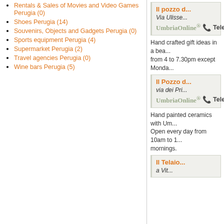Rentals & Sales of Movies and Video Games Perugia (0)
Shoes Perugia (14)
Souvenirs, Objects and Gadgets Perugia (0)
Sports equipment Perugia (4)
Supermarket Perugia (2)
Travel agencies Perugia (0)
Wine bars Perugia (5)
Il pozzo d...
Via Ulisse...
UmbriaOnline  Telefo...
Hand crafted gift ideas in a bea... from 4 to 7.30pm except Monda...
Il Pozzo d...
via dei Pri...
UmbriaOnline  Telefo...
Hand painted ceramics with Um... Open every day from 10am to 1... mornings.
Il Telaio...